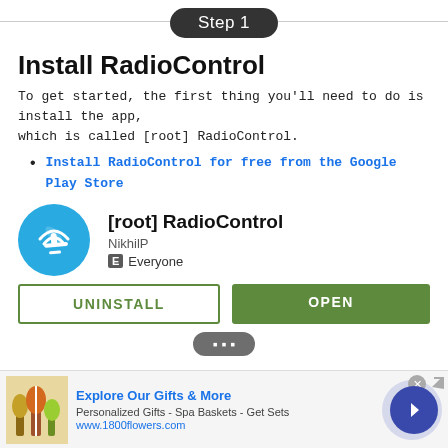Step 1
Install RadioControl
To get started, the first thing you'll need to do is install the app, which is called [root] RadioControl.
Install RadioControl for free from the Google Play Store
[Figure (screenshot): Google Play Store app listing for [root] RadioControl by NikhilP, rated Everyone, with UNINSTALL and OPEN buttons]
[Figure (screenshot): Partial Step 2 pill header at bottom of content area]
Explore Our Gifts & More
Personalized Gifts - Spa Baskets - Get Sets
www.1800flowers.com